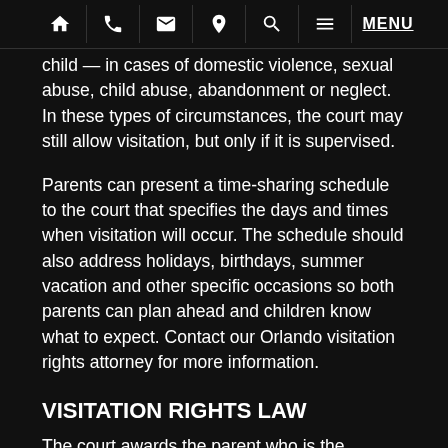[navigation bar with home, phone, email, location, search, menu icons and MENU text]
child — in cases of domestic violence, sexual abuse, child abuse, abandonment or neglect. In these types of circumstances, the court may still allow visitation, but only if it is supervised.
Parents can present a time-sharing schedule to the court that specifies the days and times when visitation will occur. The schedule should also address holidays, birthdays, summer vacation and other specific occasions so both parents can plan ahead and children know what to expect. Contact our Orlando visitation rights attorney for more information.
VISITATION RIGHTS LAW
The court awards the parent who is the secondary custodian with visitation rights. Florida statutes refer to